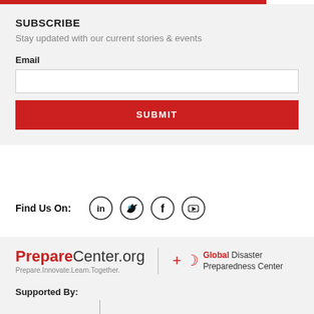SUBSCRIBE
Stay updated with our current stories & events
Email
[Figure (other): Email input field (text box)]
SUBMIT
Find Us On:
[Figure (other): Social media icons: LinkedIn, Twitter, Facebook, YouTube]
[Figure (logo): PrepareCenter.org logo with tagline 'Prepare.Innovate.Learn.Together.' and Global Disaster Preparedness Center logo]
Supported By: